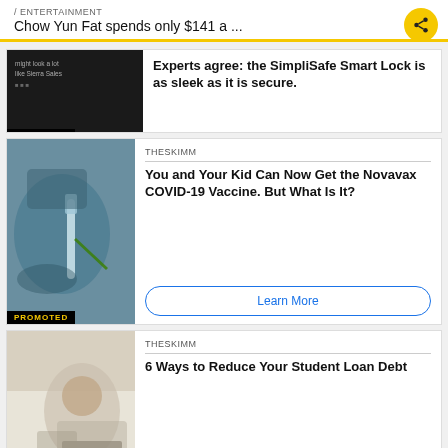/ ENTERTAINMENT
Chow Yun Fat spends only $141 a ...
[Figure (screenshot): Promoted ad card for SimpliSafe Smart Lock with dark product image on left and text on right]
Experts agree: the SimpliSafe Smart Lock is as sleek as it is secure.
[Figure (photo): Promoted TheSkimm card showing hands holding a syringe/vaccine with article about Novavax COVID-19 Vaccine]
THESKIMM
You and Your Kid Can Now Get the Novavax COVID-19 Vaccine. But What Is It?
[Figure (photo): Promoted TheSkimm card showing a woman at a desk/computer for article about reducing student loan debt]
THESKIMM
6 Ways to Reduce Your Student Loan Debt
THE DAILY EMAIL NEWSLETTER TO START ...